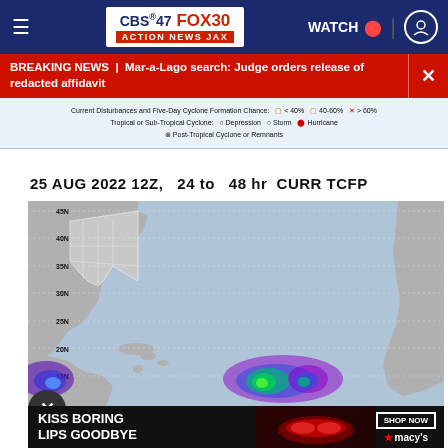CBS47 FOX30 ACTION NEWS JAX | WATCH
BREAKING NEWS | Mar-a-Lago search: Judge orders release of redacted affidavit
Current Disturbances and Five-Day Cyclone Formation Chance: < 40% | 40-60% | > 60%
Tropical or Sub-Tropical Cyclone: O Depression  O Storm  • Hurricane
⊗ Post-Tropical Cyclone or Remnants
[Figure (map): 25 AUG 2022 12Z, 24 to 48 hr CURR TCFP — Tropical Cyclone Formation Probability map showing Atlantic basin with latitude labels 45N, 40N, 35N, 30N, 25N, 20N, 15N, with two colored disturbance probability blobs: one near 15N in eastern Pacific (blue-purple) and one near 15N in mid-Atlantic (blue-green-purple), overlaid on a gray continent and ocean background.]
KISS BORING LIPS GOODBYE  SHOP NOW  ★macy's